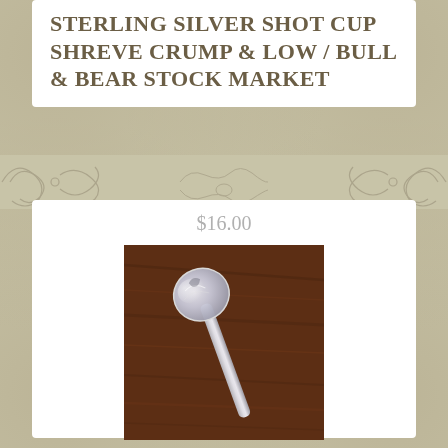STERLING SILVER SHOT CUP SHREVE CRUMP & LOW / BULL & BEAR STOCK MARKET
$16.00
[Figure (photo): A sterling silver sauce ladle with a scalloped beaded bowl, photographed on a dark wood surface. The spoon has a long handle and a small rounded cup-shaped head.]
Shreve & Co Sauce Ladle Sterling Silver 5.25” scalloped Beaded